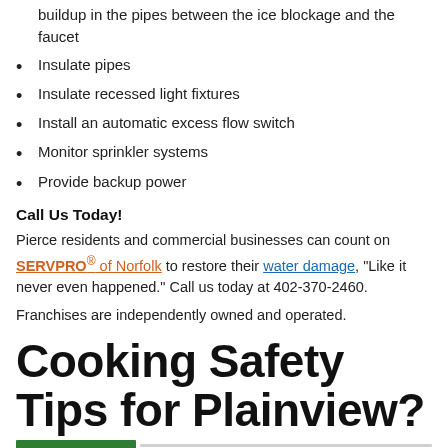buildup in the pipes between the ice blockage and the faucet
Insulate pipes
Insulate recessed light fixtures
Install an automatic excess flow switch
Monitor sprinkler systems
Provide backup power
Call Us Today!
Pierce residents and commercial businesses can count on SERVPRO® of Norfolk to restore their water damage, "Like it never even happened." Call us today at 402-370-2460.
Franchises are independently owned and operated.
Cooking Safety Tips for Plainview?
1/25/2022 (Permalink)